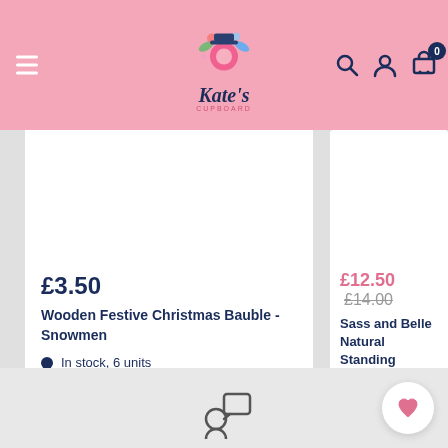[Figure (logo): Kate's Cupboard logo with decorative flowers and baking items on pink header background]
£3.50
Wooden Festive Christmas Bauble - Snowmen
In stock, 6 units
£12.50  £14.00
Sass and Belle Natural Standing Decorative D
In stock, 4 units